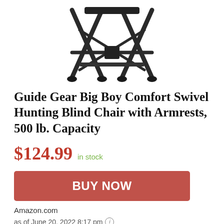[Figure (photo): Bottom portion of a folding hunting blind chair with black metal X-frame legs and rubber feet, shown on white background]
Guide Gear Big Boy Comfort Swivel Hunting Blind Chair with Armrests, 500 lb. Capacity
$124.99 in stock
BUY NOW
Amazon.com
as of June 20, 2022 8:17 pm